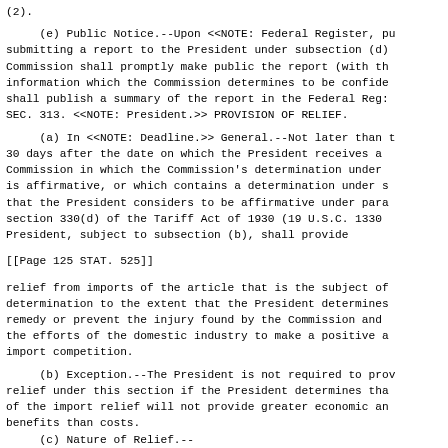(2).
(e) Public Notice.--Upon <<NOTE: Federal Register, pu submitting a report to the President under subsection (d) Commission shall promptly make public the report (with th information which the Commission determines to be confide shall publish a summary of the report in the Federal Reg: SEC. 313. <<NOTE: President.>> PROVISION OF RELIEF.
(a) In <<NOTE: Deadline.>> General.--Not later than t 30 days after the date on which the President receives a Commission in which the Commission's determination under is affirmative, or which contains a determination under s that the President considers to be affirmative under para section 330(d) of the Tariff Act of 1930 (19 U.S.C. 1330 President, subject to subsection (b), shall provide
[[Page 125 STAT. 525]]
relief from imports of the article that is the subject of determination to the extent that the President determines remedy or prevent the injury found by the Commission and the efforts of the domestic industry to make a positive a import competition.
(b) Exception.--The President is not required to prov relief under this section if the President determines tha of the import relief will not provide greater economic an benefits than costs.
(c) Nature of Relief.--
(1) In general.-- The import relief that the [